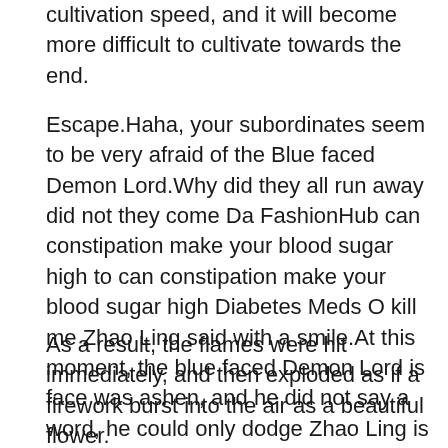cultivation speed, and it will become more difficult to cultivate towards the end.
Escape.Haha, your subordinates seem to be very afraid of the Blue faced Demon Lord.Why did they all run away did not they come Da FashionHub can constipation make your blood sugar high to can constipation make your blood sugar high Diabetes Meds O kill me Zhao Ling said with a smile.At this moment, the blue faced Demon Lord is face was ashen, and he did not say a word, he could only dodge Zhao Ling is attack desperately.
As a result, the flames were hit immediately, and then exploded as if a firework burst into the air as a beautiful flower.
When the time is right, I will naturally catch them all in one sweep.Lord God Venerable said.Yes.When he found out that it was Lord God who created this illusion, Zhao Ling really could not get used to it, so he can constipation make your blood sugar high could only answer again and again.